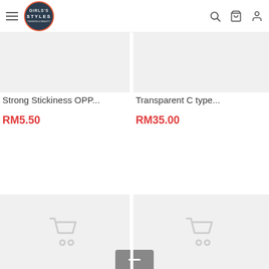Girls's Styles navigation bar with hamburger menu, logo, search, cart, and account icons
[Figure (photo): Product image placeholder (light grey) for Strong Stickiness OPP product]
Strong Stickiness OPP...
RM5.50
[Figure (photo): Product image placeholder (light grey) for Transparent C type product]
Transparent C type...
RM35.00
[Figure (photo): Product image placeholder (light grey) with shopping cart icon, bottom-left card]
[Figure (photo): Product image placeholder (light grey) with shopping cart icon, bottom-right card]